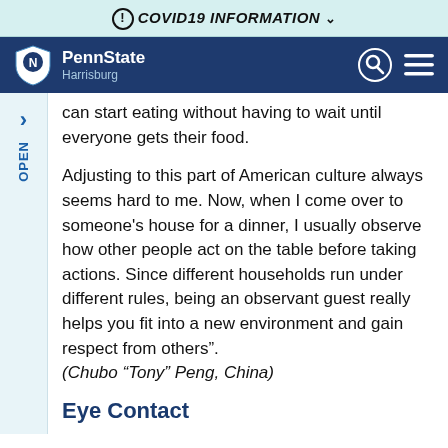ⓘ COVID19 INFORMATION ∨
[Figure (logo): Penn State Harrisburg logo with lion shield on dark blue navigation bar]
can start eating without having to wait until everyone gets their food.
Adjusting to this part of American culture always seems hard to me. Now, when I come over to someone's house for a dinner, I usually observe how other people act on the table before taking actions. Since different households run under different rules, being an observant guest really helps you fit into a new environment and gain respect from others". (Chubo "Tony" Peng, China)
Eye Contact